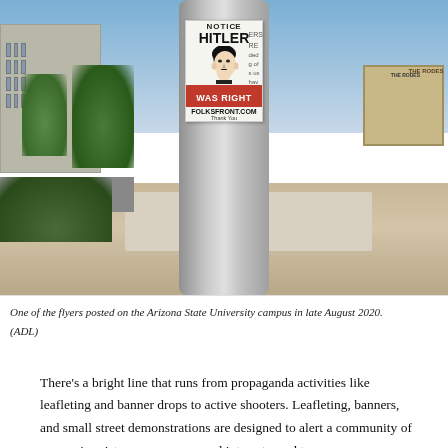[Figure (photo): A photograph of a sticker posted on a concrete pole on the Arizona State University campus. The sticker shows the text 'NOTICE', 'HITLER', a portrait of Hitler, 'WAS RIGHT' in white text on a red background, 'FOLKSFRONT.COM', and 'Thank You'. The background shows a parking structure, trees, a sidewalk, and other campus buildings.]
One of the flyers posted on the Arizona State University campus in late August 2020. (ADL)
There’s a bright line that runs from propaganda activities like leafleting and banner drops to active shooters. Leafleting, banners, and small street demonstrations are designed to alert a community of a group’s existence, presence, and interests, and to